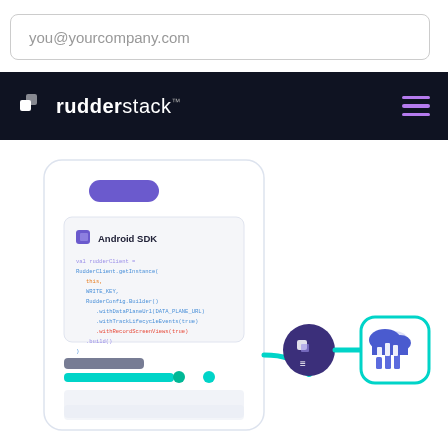you@yourcompany.com
[Figure (screenshot): RudderStack navigation bar with logo on dark background and hamburger menu icon in purple]
[Figure (infographic): RudderStack Android SDK integration diagram showing a mobile phone screen with code snippet connecting via pipeline to a cloud analytics destination icon]